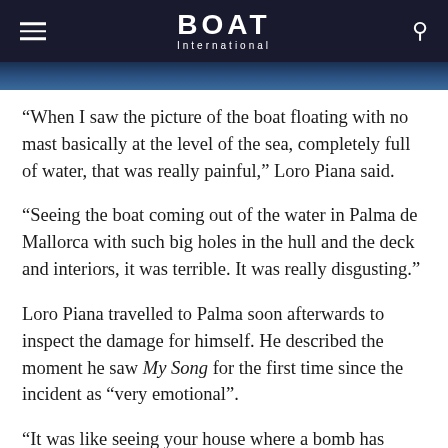BOAT International
[Figure (photo): Partial view of a dark blue water/boat scene, cropped at the top of the page]
“When I saw the picture of the boat floating with no mast basically at the level of the sea, completely full of water, that was really painful,” Loro Piana said.
“Seeing the boat coming out of the water in Palma de Mallorca with such big holes in the hull and the deck and interiors, it was terrible. It was really disgusting.”
Loro Piana travelled to Palma soon afterwards to inspect the damage for himself. He described the moment he saw My Song for the first time since the incident as “very emotional”.
“It was like seeing your house where a bomb has